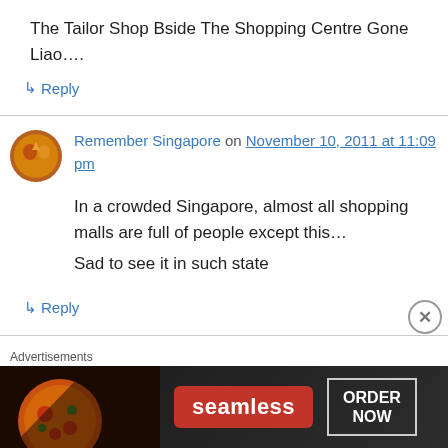The Tailor Shop Bside The Shopping Centre Gone Liao….
↳ Reply
Remember Singapore on November 10, 2011 at 11:09 pm
In a crowded Singapore, almost all shopping malls are full of people except this… Sad to see it in such state
↳ Reply
Advertisements
[Figure (photo): Seamless food ordering advertisement banner with pizza image, Seamless logo, and ORDER NOW button]